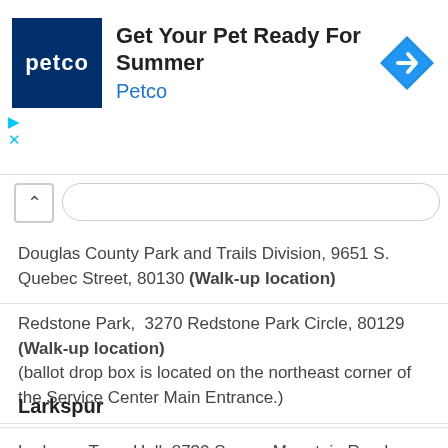[Figure (other): Petco advertisement banner with logo and headline 'Get Your Pet Ready For Summer']
Douglas County Park and Trails Division, 9651 S. Quebec Street, 80130 (Walk-up location)
Redstone Park, 3270 Redstone Park Circle, 80129 (Walk-up location) (ballot drop box is located on the northeast corner of the Service Center Main Entrance.)
Larkspur
Larkspur Town Hall, 8730 Spruce Mountain Road